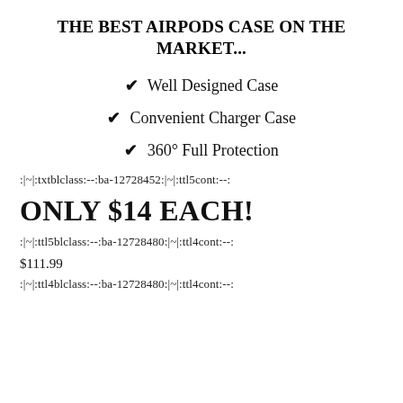THE BEST AIRPODS CASE ON THE MARKET...
✔ Well Designed Case
✔ Convenient Charger Case
✔ 360° Full Protection
:|~|:txtblclass:--:ba-12728452:|~|:ttl5cont:--:
ONLY $14 EACH!
:|~|:ttl5blclass:--:ba-12728480:|~|:ttl4cont:--:
$111.99
:|~|:ttl4blclass:--:ba-12728480:|~|:ttl4cont:--: